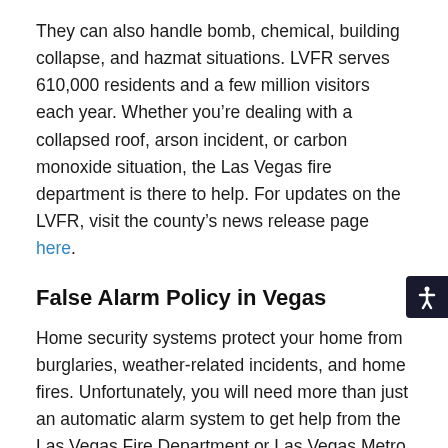They can also handle bomb, chemical, building collapse, and hazmat situations. LVFR serves 610,000 residents and a few million visitors each year. Whether you're dealing with a collapsed roof, arson incident, or carbon monoxide situation, the Las Vegas fire department is there to help. For updates on the LVFR, visit the county's news release page here.
False Alarm Policy in Vegas
Home security systems protect your home from burglaries, weather-related incidents, and home fires. Unfortunately, you will need more than just an automatic alarm system to get help from the Las Vegas Fire Department or Las Vegas Metro Police Department.